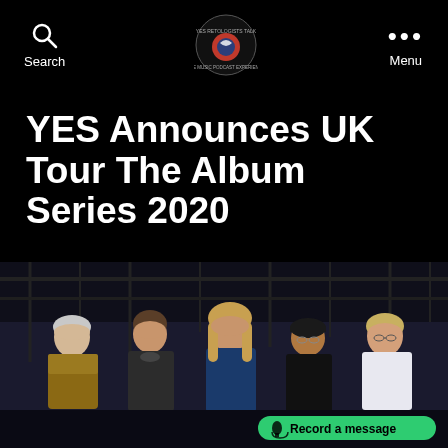Search | [Logo] | Menu
YES Announces UK Tour The Album Series 2020
October 9, 2019   10 Comments
[Figure (photo): Five members of the band YES standing together against a dark stage background with lighting rigs. A green 'Record a message' button overlay is in the bottom right corner.]